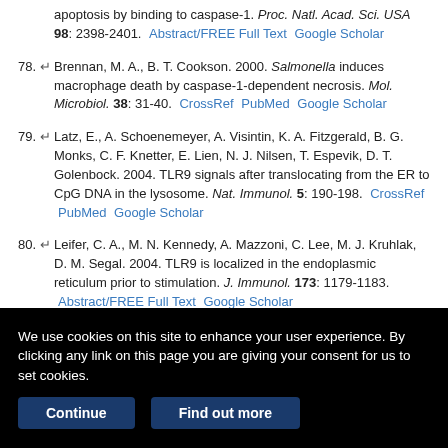apoptosis by binding to caspase-1. Proc. Natl. Acad. Sci. USA 98: 2398-2401. Abstract/FREE Full Text  Google Scholar
78. Brennan, M. A., B. T. Cookson. 2000. Salmonella induces macrophage death by caspase-1-dependent necrosis. Mol. Microbiol. 38: 31-40. CrossRef  PubMed  Google Scholar
79. Latz, E., A. Schoenemeyer, A. Visintin, K. A. Fitzgerald, B. G. Monks, C. F. Knetter, E. Lien, N. J. Nilsen, T. Espevik, D. T. Golenbock. 2004. TLR9 signals after translocating from the ER to CpG DNA in the lysosome. Nat. Immunol. 5: 190-198. CrossRef  PubMed  Google Scholar
80. Leifer, C. A., M. N. Kennedy, A. Mazzoni, C. Lee, M. J. Kruhlak, D. M. Segal. 2004. TLR9 is localized in the endoplasmic reticulum prior to stimulation. J. Immunol. 173: 1179-1183. Abstract/FREE Full Text  Google Scholar
81. Touret, N., P. Paroutis, M. Terebiznik, R. E. Harrison, S. Trombetta, M. ...
We use cookies on this site to enhance your user experience. By clicking any link on this page you are giving your consent for us to set cookies.